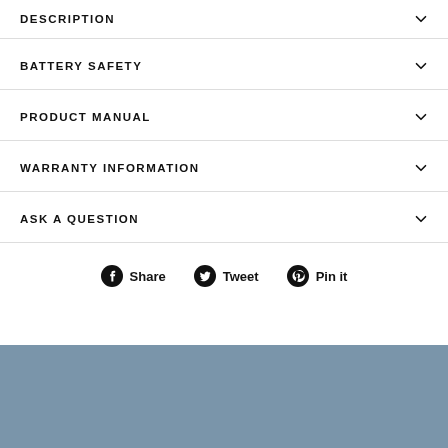DESCRIPTION
BATTERY SAFETY
PRODUCT MANUAL
WARRANTY INFORMATION
ASK A QUESTION
Share  Tweet  Pin it